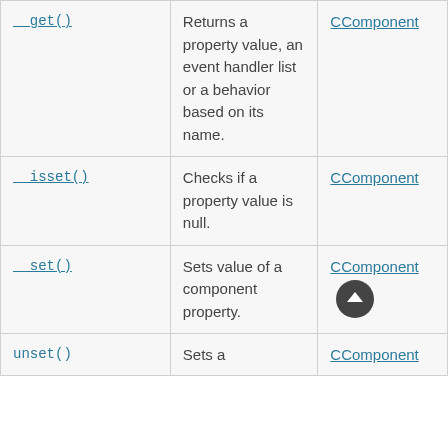| Method | Description | Defined By |
| --- | --- | --- |
| __get() | Returns a property value, an event handler list or a behavior based on its name. | CComponent |
| __isset() | Checks if a property value is null. | CComponent |
| __set() | Sets value of a component property. | CComponent |
| unset() | Sets a | CComponent |